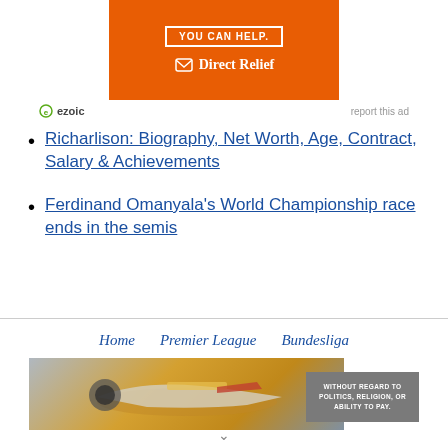[Figure (other): Orange Direct Relief advertisement banner with white bordered text and logo]
ezoic   report this ad
Richarlison: Biography, Net Worth, Age, Contract, Salary & Achievements
Ferdinand Omanyala's World Championship race ends in the semis
Home   Premier League   Bundesliga
[Figure (other): Advertisement banner showing airplane cargo loading with Without Regard To text overlay]